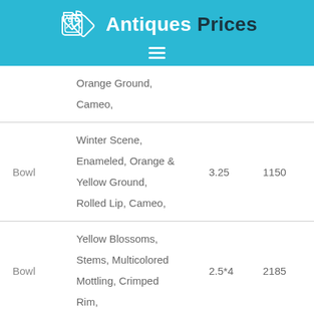Antiques Prices
| Item | Description | Size | Price |
| --- | --- | --- | --- |
|  | Orange Ground, Cameo, |  |  |
| Bowl | Winter Scene, Enameled, Orange & Yellow Ground, Rolled Lip, Cameo, | 3.25 | 1150 |
| Bowl | Yellow Blossoms, Stems, Multicolored Mottling, Crimped Rim, | 2.5*4 | 2185 |
|  | Green, Butter & |  |  |